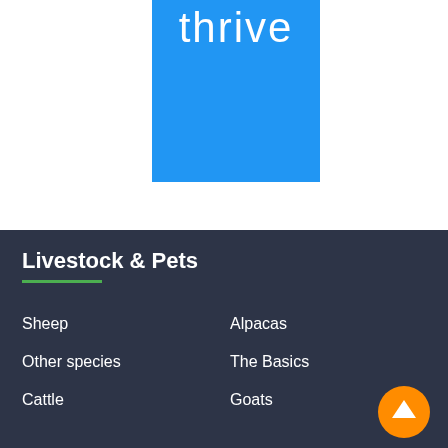[Figure (logo): Blue rectangle with white text 'thrive' partially visible at top]
Livestock & Pets
Sheep
Alpacas
Other species
The Basics
Cattle
Goats